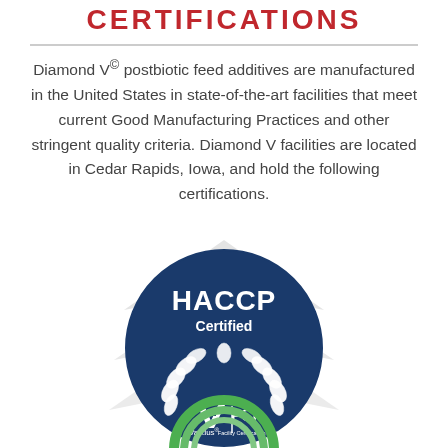CERTIFICATIONS
Diamond V© postbiotic feed additives are manufactured in the United States in state-of-the-art facilities that meet current Good Manufacturing Practices and other stringent quality criteria. Diamond V facilities are located in Cedar Rapids, Iowa, and hold the following certifications.
[Figure (logo): Diamond V logo watermark (grey diamond/chevron shape in background)]
[Figure (logo): HACCP Certified badge with laurel wreath, Validus and FCI logos inside a dark blue circle]
[Figure (logo): Partial green circular certification logo at bottom of page]